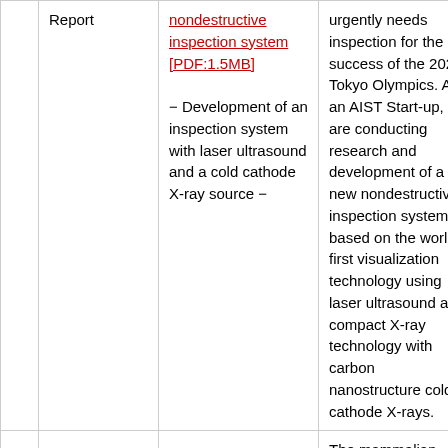|  |  |  |  |
| --- | --- | --- | --- |
| Report | nondestructive inspection system [PDF:1.5MB]

– Development of an inspection system with laser ultrasound and a cold cathode X-ray source – | urgently needs inspection for the success of the 2020 Tokyo Olympics. As an AIST Start-up, we are conducting research and development of a new nondestructive inspection system based on the world's first visualization technology using laser ultrasound and compact X-ray technology with carbon nanostructure cold cathode X-rays. |
|  |  | The mammalian clock gene, Period2, was discovered by |